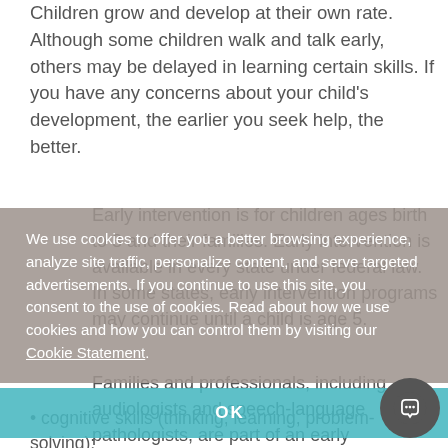Children grow and develop at their own rate. Although some children walk and talk early, others may be delayed in learning certain skills. If you have any concerns about your child's development, the earlier you seek help, the better.
Early intervention is for children ages birth to 3 and their families. Early intervention is available in every state under federal law. In some states, early intervention programs may continue until a child is age 5.
Families and professionals, including audiologists and speech-language pathologists, are part of an early intervention team. They help children develop skills such
cognitive skills (thinking, learning, problem-solving);